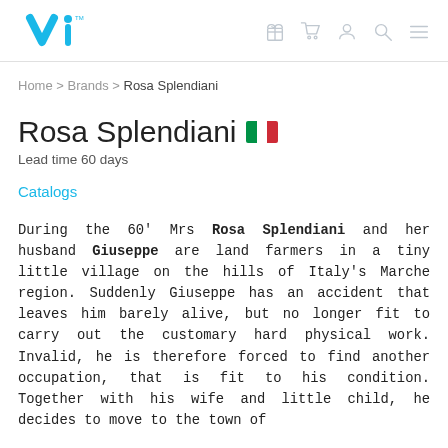vi logo with navigation icons
Home > Brands > Rosa Splendiani
Rosa Splendiani
Lead time 60 days
Catalogs
During the 60' Mrs Rosa Splendiani and her husband Giuseppe are land farmers in a tiny little village on the hills of Italy's Marche region. Suddenly Giuseppe has an accident that leaves him barely alive, but no longer fit to carry out the customary hard physical work. Invalid, he is therefore forced to find another occupation, that is fit to his condition. Together with his wife and little child, he decides to move to the town of